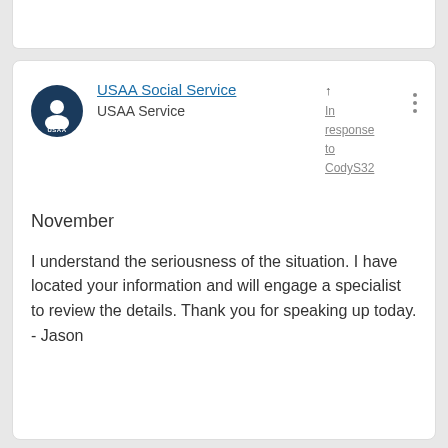USAA Social Service
USAA Service
In response to CodyS32
November
I understand the seriousness of the situation. I have located your information and will engage a specialist to review the details. Thank you for speaking up today. - Jason